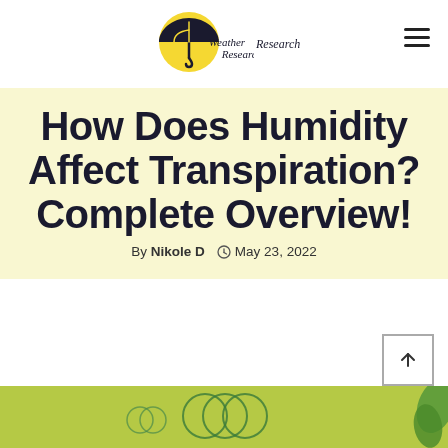Weather Research
How Does Humidity Affect Transpiration? Complete Overview!
By Nikole D  May 23, 2022
[Figure (photo): Bottom strip showing green background with decorative circles, partial plant/leaf visible on right edge]